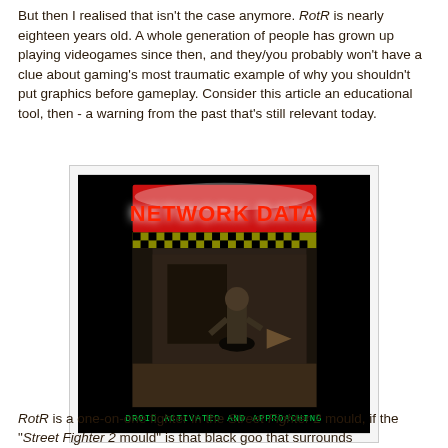But then I realised that isn't the case anymore. RotR is nearly eighteen years old. A whole generation of people has grown up playing videogames since then, and they/you probably won't have a clue about gaming's most traumatic example of why you shouldn't put graphics before gameplay. Consider this article an educational tool, then - a warning from the past that's still relevant today.
[Figure (screenshot): Screenshot of a dark video game showing 'NETWORK DATA' in red text at top and 'DROID ACTIVATED AND APPROACHING' in green text at bottom, with a 3D game scene in between showing a character in a dark environment.]
RotR is a one-on-one fighter in the Street Fighter 2 mould, if the "Street Fighter 2 mould" is that black goo that surrounds